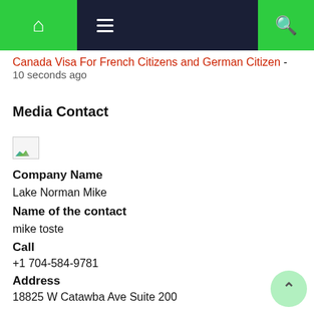Navigation bar with home, menu, and search icons
Canada Visa For French Citizens and German Citizen - 10 seconds ago
Media Contact
[Figure (photo): Broken image placeholder thumbnail]
Company Name
Lake Norman Mike
Name of the contact
mike toste
Call
+1 704-584-9781
Address
18825 W Catawba Ave Suite 200
City
Cornelius
State